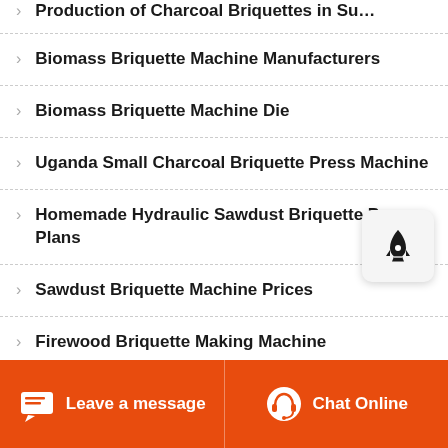Production of Charcoal Briquettes in Su…
Biomass Briquette Machine Manufacturers
Biomass Briquette Machine Die
Uganda Small Charcoal Briquette Press Machine
Homemade Hydraulic Sawdust Briquette Pr… Plans
Sawdust Briquette Machine Prices
Firewood Briquette Making Machine
Leave a message   Chat Online